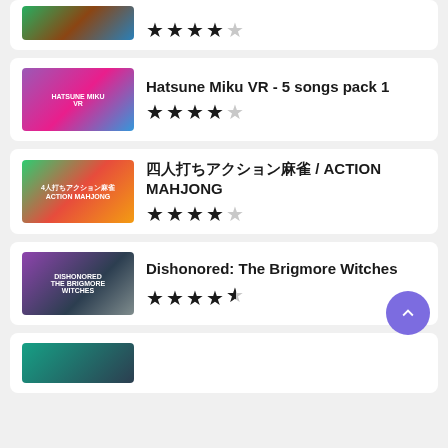[Figure (screenshot): Partial game card at top showing game thumbnail (trees/landscape) with 4 out of 5 stars rating]
[Figure (screenshot): Hatsune Miku VR game thumbnail - anime character with blue hair]
Hatsune Miku VR - 5 songs pack 1
[Figure (screenshot): Action Mahjong game thumbnail showing Japanese mahjong arcade game]
四人打ちアクション麻雀 / ACTION MAHJONG
[Figure (screenshot): Dishonored: The Brigmore Witches game thumbnail]
Dishonored: The Brigmore Witches
[Figure (screenshot): Partial game card at bottom, thumbnail partially visible]